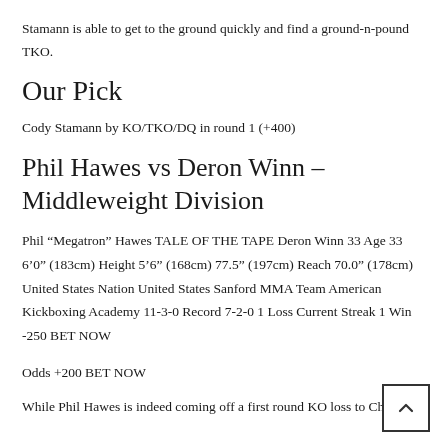Stamann is able to get to the ground quickly and find a ground-n-pound TKO.
Our Pick
Cody Stamann by KO/TKO/DQ in round 1 (+400)
Phil Hawes vs Deron Winn – Middleweight Division
Phil “Megatron” Hawes TALE OF THE TAPE Deron Winn 33 Age 33 6’0” (183cm) Height 5’6” (168cm) 77.5” (197cm) Reach 70.0” (178cm) United States Nation United States Sanford MMA Team American Kickboxing Academy 11-3-0 Record 7-2-0 1 Loss Current Streak 1 Win -250 BET NOW
Odds +200 BET NOW
While Phil Hawes is indeed coming off a first round KO loss to Chris